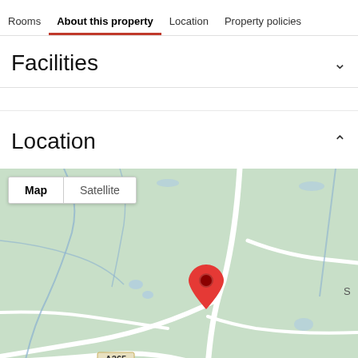Rooms  About this property  Location  Property policies
Facilities
Location
[Figure (map): Google Maps view showing a rural/semi-rural area with green terrain, roads including A265, and a red location pin marker. Map/Satellite toggle buttons visible in top-left corner.]